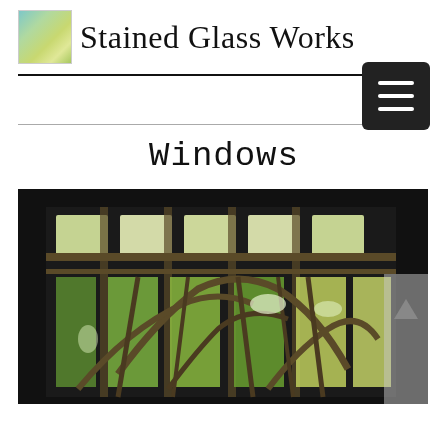Stained Glass Works
Windows
[Figure (photo): A stained glass window panel featuring an Art Nouveau design with green, yellow, and white glass pieces arranged to depict stylized plant stems and leaves with curved lead lines against a dark border.]